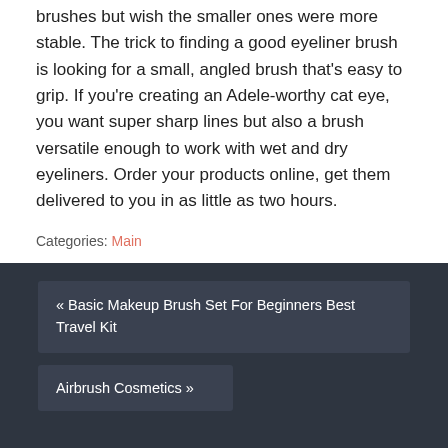brushes but wish the smaller ones were more stable. The trick to finding a good eyeliner brush is looking for a small, angled brush that's easy to grip. If you're creating an Adele-worthy cat eye, you want super sharp lines but also a brush versatile enough to work with wet and dry eyeliners. Order your products online, get them delivered to you in as little as two hours.
Categories: Main
« Basic Makeup Brush Set For Beginners Best Travel Kit
Airbrush Cosmetics »